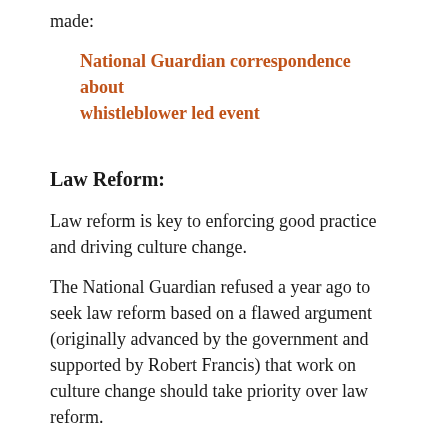made:
National Guardian correspondence about whistleblower led event
Law Reform:
Law reform is key to enforcing good practice and driving culture change.
The National Guardian refused a year ago to seek law reform based on a flawed argument (originally advanced by the government and supported by Robert Francis) that work on culture change should take priority over law reform.
“I do understand the views of campaigners who say that the current legislation requires reform. However, we are not currently seeking to campaign for changes to the law.